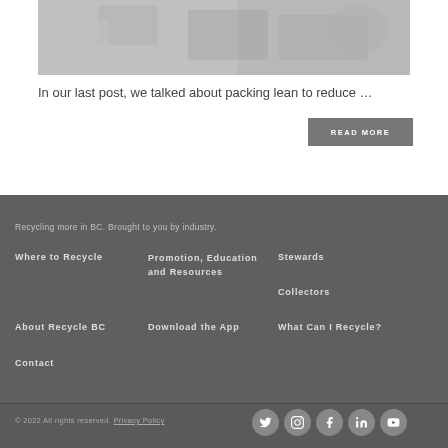[Figure (photo): Grayscale photo of people packing or handling items in boxes]
In our last post, we talked about packing lean to reduce …
READ MORE
Recycling more in BC. Brought to you by industry.
Where to Recycle
Promotion, Education and Resources
Stewards
Collectors
About Recycle BC
Download the App
What Can I Recycle?
Contact
© 2022 All rights reserved. Privacy Policy